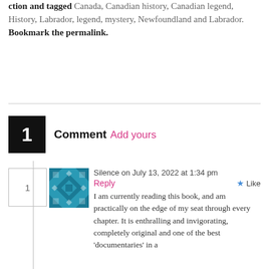ction and tagged Canada, Canadian history, Canadian legend, History, Labrador, legend, mystery, Newfoundland and Labrador. Bookmark the permalink.
1 Comment Add yours
Silence on July 13, 2022 at 1:34 pm
Reply
Like
I am currently reading this book, and am practically on the edge of my seat through every chapter. It is enthralling and invigorating, completely original and one of the best 'documentaries' in a